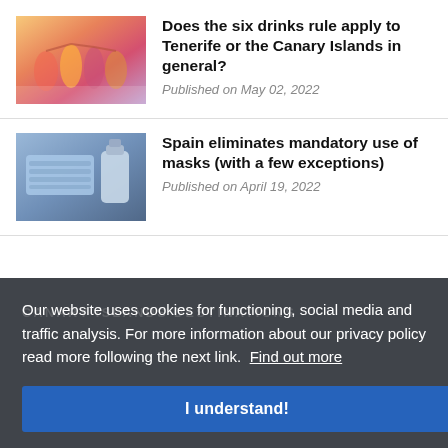[Figure (photo): People clinking colorful drinks (cocktails) at a table]
Does the six drinks rule apply to Tenerife or the Canary Islands in general?
Published on May 02, 2022
[Figure (photo): Blue surgical face masks and a hand sanitizer bottle on a dark surface]
Spain eliminates mandatory use of masks (with a few exceptions)
Published on April 19, 2022
Our website uses cookies for functioning, social media and traffic analysis. For more information about our privacy policy read more following the next link. Find out more
I understand!